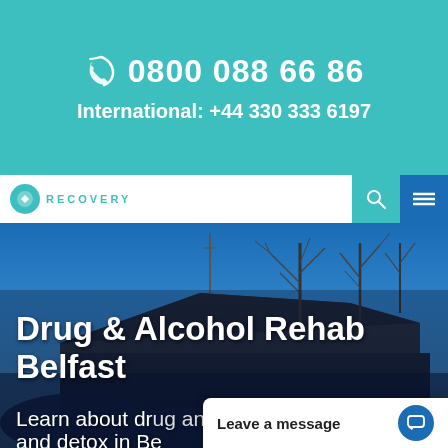0800 088 66 86
International: +44 330 333 6197
[Figure (screenshot): Navigation bar with recovery logo, teal phone icon, and blue menu icon]
[Figure (photo): Exterior photograph of a building with bare winter trees against a blue sky, cars visible in foreground]
Drug & Alcohol Rehab Belfast
Learn about drug and alcohol rehab and detox in Be...
Leave a message